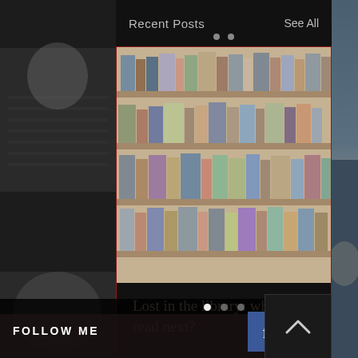Recent Posts   See All
[Figure (photo): Bookshelf filled with rows of books on wooden shelves]
Lost in the library: what to read next?
1 views  0 comments  heart/like button
FOLLOW ME
[Figure (logo): Facebook logo button (blue)]
[Figure (logo): Twitter logo button (light blue)]